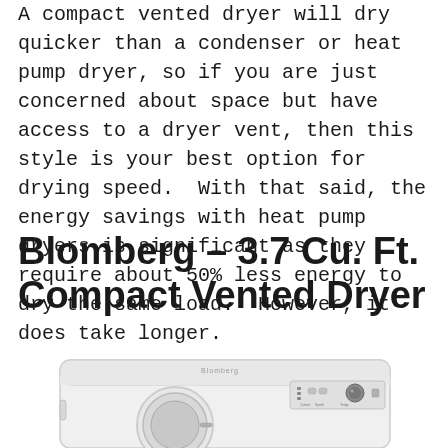A compact vented dryer will dry quicker than a condenser or heat pump dryer, so if you are just concerned about space but have access to a dryer vent, then this style is your best option for drying speed.  With that said, the energy savings with heat pump dryers is significant as they require about 50% less energy to dry the same load.  However, it does take longer.
Blomberg – 3.7 Cu. Ft. Compact Vented Dryer
[Figure (photo): Photo of a white Blomberg compact vented dryer with control panel on top right, showing knobs and buttons, and a circular door at the bottom front.]